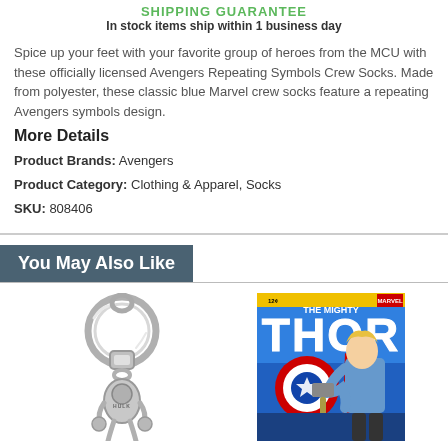SHIPPING GUARANTEE
In stock items ship within 1 business day
Spice up your feet with your favorite group of heroes from the MCU with these officially licensed Avengers Repeating Symbols Crew Socks. Made from polyester, these classic blue Marvel crew socks feature a repeating Avengers symbols design.
More Details
Product Brands: Avengers
Product Category: Clothing & Apparel, Socks
SKU: 808406
You May Also Like
[Figure (photo): Silver metal keychain with Hulk figure pendant and multiple key rings]
[Figure (photo): The Mighty Thor Marvel comic book cover showing Thor with Captain America's shield, 12 cents issue]